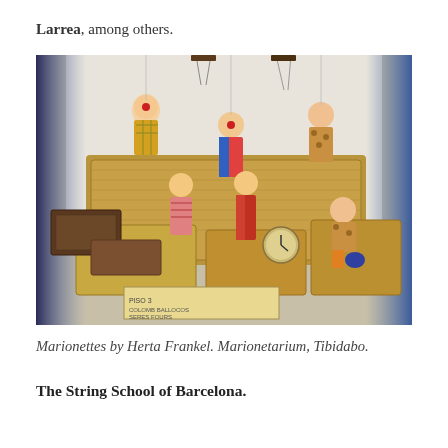Larrea, among others.
[Figure (photo): A display of marionette puppets by Herta Frankel at the Marionetarium, Tibidabo. Several colorful puppet figures including clowns and characters are arranged on wicker baskets and suitcases, with strings visible above them. A blue curtain is visible in the background.]
Marionettes by Herta Frankel. Marionetarium, Tibidabo.
The String School of Barcelona.